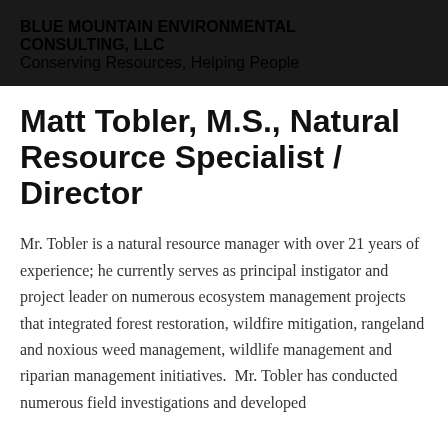BLUE MOUNTAIN ENVIRONMENTAL CONSULTING, LLC
Conserving Resources, Helping People
Matt Tobler, M.S., Natural Resource Specialist / Director
Mr. Tobler is a natural resource manager with over 21 years of experience; he currently serves as principal instigator and project leader on numerous ecosystem management projects that integrated forest restoration, wildfire mitigation, rangeland and noxious weed management, wildlife management and riparian management initiatives.  Mr. Tobler has conducted numerous field investigations and developed